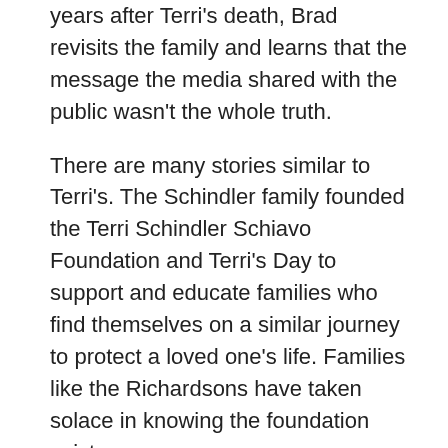years after Terri's death, Brad revisits the family and learns that the message the media shared with the public wasn't the whole truth.
There are many stories similar to Terri's. The Schindler family founded the Terri Schindler Schiavo Foundation and Terri's Day to support and educate families who find themselves on a similar journey to protect a loved one's life. Families like the Richardsons have taken solace in knowing the foundation exists.
Randy Richardson's daughter, Lauren, was placed on life support after an accident left her in a coma. Lauren was 12 weeks pregnant at the time of the accident, so doctors decided to do all they could to stabilize Lauren until the baby was viable. After she gave birth to her daughter, the medical tide turned, and Randy found himself in a battle to keep Lauren alive. Eventually the doctors and family came to a resolution regarding the value of Laurens life, and she is now receiving the physical support needed to bring her home.
Suzanne, Bobby, Mary, and Bob are encouraged to know